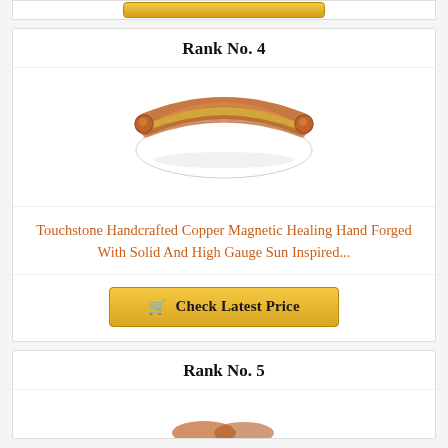[Figure (other): Partial golden button visible at top of page (cut off)]
Rank No. 4
[Figure (photo): Copper magnetic healing bracelet bangle with gold glitter center band, open cuff style, rose copper tone]
Touchstone Handcrafted Copper Magnetic Healing Hand Forged With Solid And High Gauge Sun Inspired...
[Figure (other): Check Latest Price button with shopping cart icon, gold gradient background]
Rank No. 5
[Figure (photo): Partial image of another product (cut off at bottom of page)]